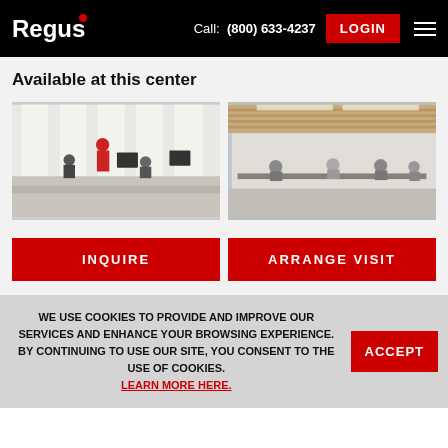Regus — Call: (800) 633-4237 | LOGIN
Available at this center
[Figure (photo): Office workspace with employees at desks, bright windows in background]
[Figure (photo): Modern open office coworking space with wooden ceiling and people working]
INQUIRE
ARRANGE VISIT
WE USE COOKIES TO PROVIDE AND IMPROVE OUR SERVICES AND ENHANCE YOUR BROWSING EXPERIENCE. BY CONTINUING TO USE OUR SITE, YOU CONSENT TO THE USE OF COOKIES. LEARN MORE HERE.
ACCEPT